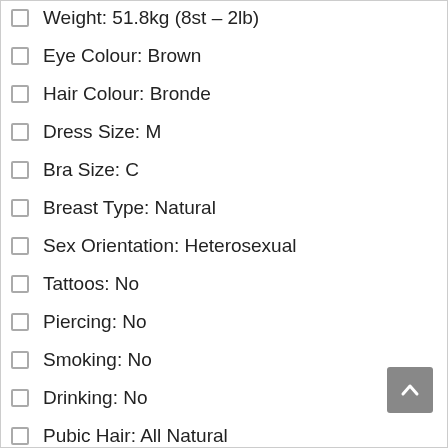Weight: 51.8kg (8st – 2lb)
Eye Colour: Brown
Hair Colour: Bronde
Dress Size: M
Bra Size: C
Breast Type: Natural
Sex Orientation: Heterosexual
Tattoos: No
Piercing: No
Smoking: No
Drinking: No
Pubic Hair: All Natural
Incall Price from £130
Outcall Price: from £140